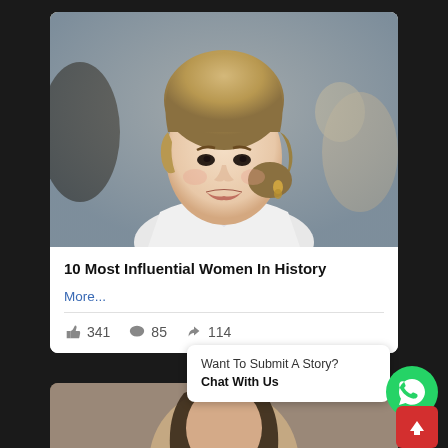[Figure (photo): Portrait photo of Princess Diana smiling, wearing a white jacket, with blurred crowd background]
10 Most Influential Women In History
More...
341  85  114
[Figure (photo): Partial photo of a brunette woman, bottom card, partially visible]
Want To Submit A Story?
Chat With Us